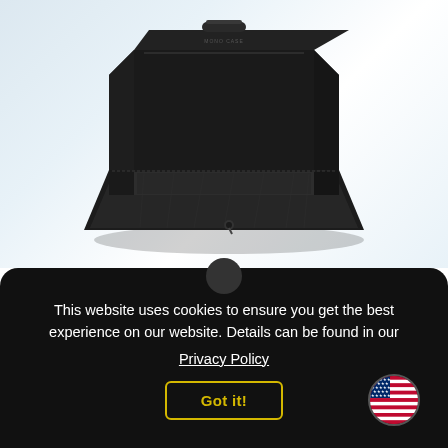[Figure (photo): Black soft-sided carry case / bag open with lid folded down, showing black velvet-lined interior and flat bottom tray. Photographed from a 3/4 angle on a light blue-white gradient background.]
This website uses cookies to ensure you get the best experience on our website. Details can be found in our
Privacy Policy
Got it!